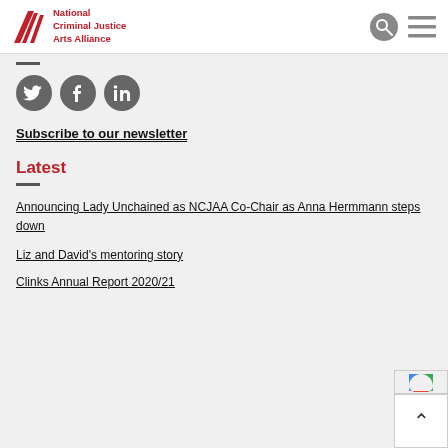National Criminal Justice Arts Alliance
[Figure (logo): National Criminal Justice Arts Alliance logo with red striped graphic and red text]
[Figure (infographic): Social media icons: Twitter, Facebook, LinkedIn — dark grey circles]
Subscribe to our newsletter
Latest
Announcing Lady Unchained as NCJAA Co-Chair as Anna Hermmann steps down
Liz and David's mentoring story
Clinks Annual Report 2020/21